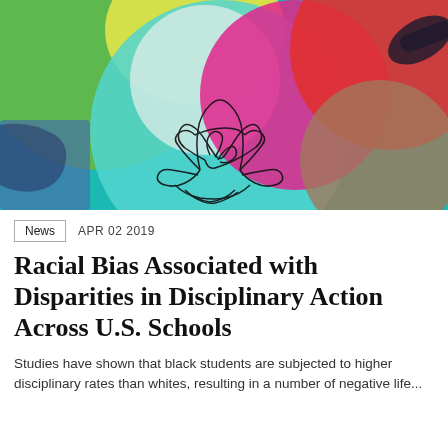[Figure (illustration): Colorful abstract illustration with overlapping circles in teal, white, magenta/pink, red, and green on a teal background, with a line-art figure of a person meditating in the center, and abstract shapes including hands and geometric forms.]
News   APR 02 2019
Racial Bias Associated with Disparities in Disciplinary Action Across U.S. Schools
Studies have shown that black students are subjected to higher disciplinary rates than whites, resulting in a number of negative life...